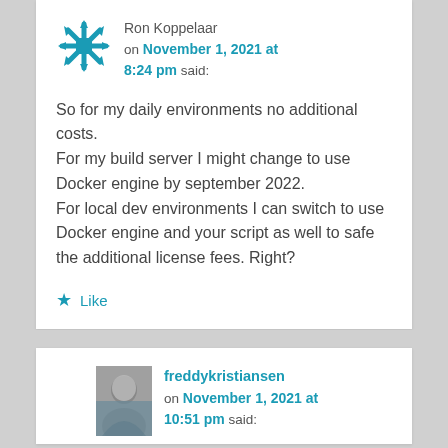Ron Koppelaar on November 1, 2021 at 8:24 pm said:
So for my daily environments no additional costs.
For my build server I might change to use Docker engine by september 2022.
For local dev environments I can switch to use Docker engine and your script as well to safe the additional license fees. Right?
Like
freddykristiansen on November 1, 2021 at 10:51 pm said: